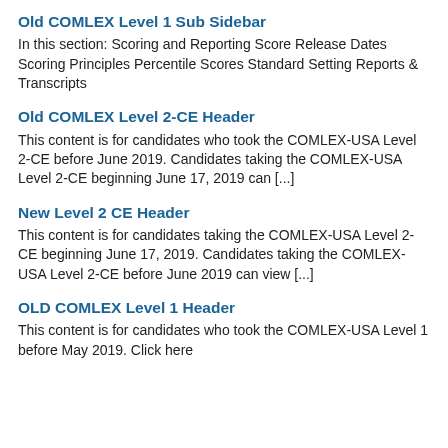Old COMLEX Level 1 Sub Sidebar
In this section: Scoring and Reporting Score Release Dates Scoring Principles Percentile Scores Standard Setting Reports & Transcripts
Old COMLEX Level 2-CE Header
This content is for candidates who took the COMLEX-USA Level 2-CE before June 2019. Candidates taking the COMLEX-USA Level 2-CE beginning June 17, 2019 can [...]
New Level 2 CE Header
This content is for candidates taking the COMLEX-USA Level 2-CE beginning June 17, 2019. Candidates taking the COMLEX-USA Level 2-CE before June 2019 can view [...]
OLD COMLEX Level 1 Header
This content is for candidates who took the COMLEX-USA Level 1 before May 2019. Click here